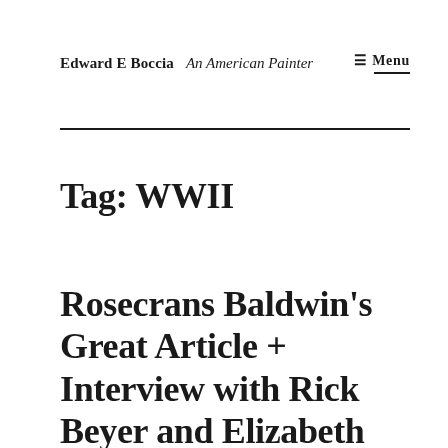Edward E Boccia  An American Painter
≡ Menu
Tag: WWII
Rosecrans Baldwin's Great Article + Interview with Rick Beyer and Elizabeth Sayles about The Ghost Army, Morning